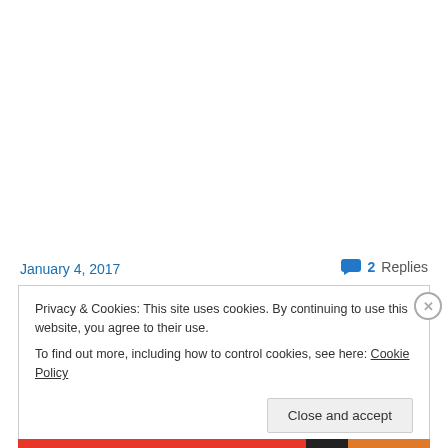January 4, 2017
2 Replies
Privacy & Cookies: This site uses cookies. By continuing to use this website, you agree to their use.
To find out more, including how to control cookies, see here: Cookie Policy
Close and accept